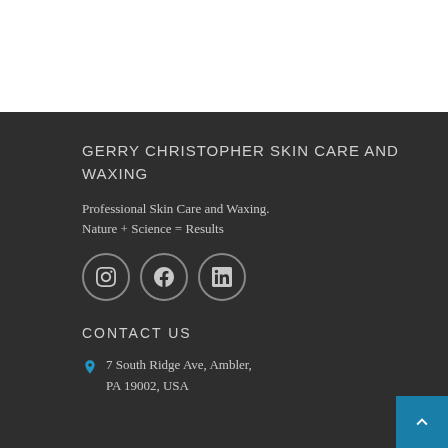GERRY CHRISTOPHER SKIN CARE AND WAXING
Professional Skin Care and Waxing.
Nature + Science = Results
[Figure (other): Three social media icon circles: Instagram, Facebook, LinkedIn]
CONTACT US
7 South Ridge Ave, Ambler, PA 19002, USA